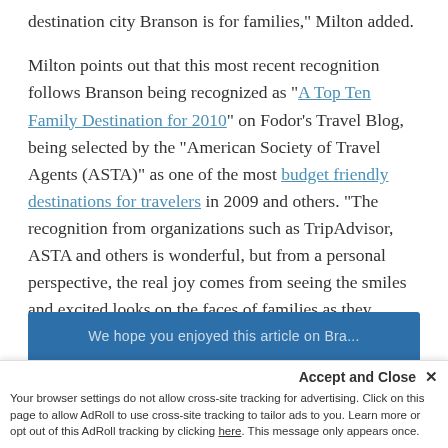destination city Branson is for families,” Milton added.
Milton points out that this most recent recognition follows Branson being recognized as “A Top Ten Family Destination for 2010” on Fodor’s Travel Blog, being selected by the “American Society of Travel Agents (ASTA)” as one of the most budget friendly destinations for travelers in 2009 and others. “The recognition from organizations such as TripAdvisor, ASTA and others is wonderful, but from a personal perspective, the real joy comes from seeing the smiles and excited looks on the faces of families as they experience the entertainment, fun, excitement and adventure that is Branson as they create memories they will remember for a lifetime.”
[Figure (other): Blue banner bar at bottom of article]
Accept and Close × Your browser settings do not allow cross-site tracking for advertising. Click on this page to allow AdRoll to use cross-site tracking to tailor ads to you. Learn more or opt out of this AdRoll tracking by clicking here. This message only appears once.